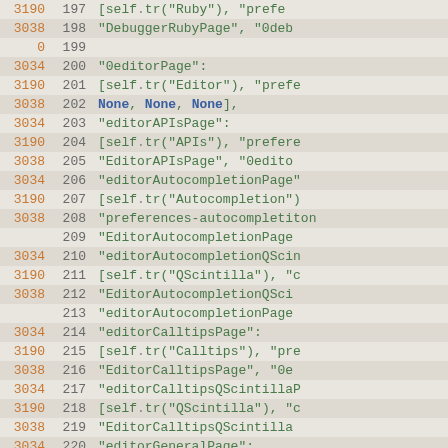[Figure (screenshot): Source code viewer showing line numbers (column 1 in orange), absolute line numbers (column 2 in gray), and Python/code content (column 3 in green/blue) for lines 197-226. Content includes dictionary/list entries for preferences pages like Ruby, Editor, editorAPIsPage, editorAutocompletionPage, editorCalltipsPage, editorGeneralPage, editorFilePage.]